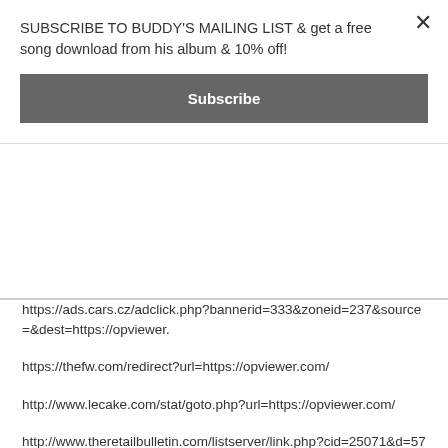SUBSCRIBE TO BUDDY'S MAILING LIST & get a free song download from his album & 10% off!
Subscribe
https://ads.cars.cz/adclick.php?bannerid=333&zoneid=237&source=&dest=https://opviewer.
https://thefw.com/redirect?url=https://opviewer.com/
http://www.lecake.com/stat/goto.php?url=https://opviewer.com/
http://www.theretailbulletin.com/listserver/link.php?cid=25071&d=5767&e=5015&u=https://opviewer.com/
http://go.e-frontier.co.jp/rd2.php?uri=https://opviewer.com/
https://www.paeria.cat/ang/ajuntament/noticies.asp?